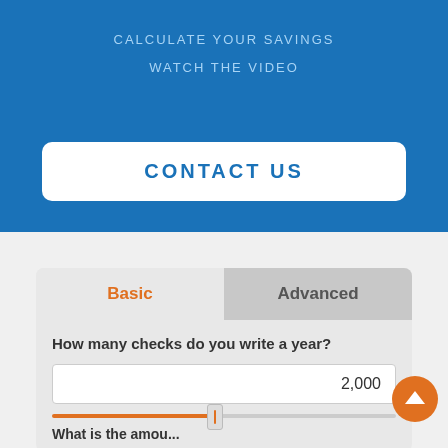CALCULATE YOUR SAVINGS
WATCH THE VIDEO
CONTACT US
Basic
Advanced
How many checks do you write a year?
2,000
What is the amount?